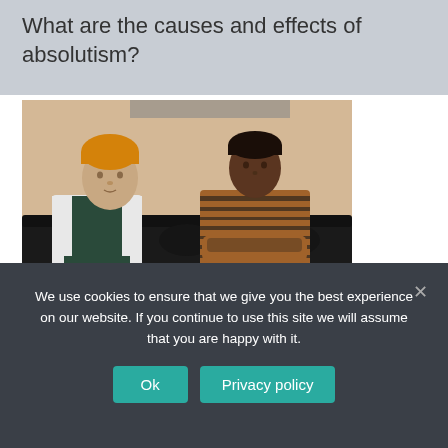What are the causes and effects of absolutism?
[Figure (photo): Two people sitting on a black leather couch. On the left, a man wearing an orange beanie hat, dark puffer vest, and white shirt, looking toward the woman. On the right, a woman with short hair wearing a striped brown sweater, sitting with arms crossed, looking back at the man. Background is a warm beige/tan color.]
We use cookies to ensure that we give you the best experience on our website. If you continue to use this site we will assume that you are happy with it.